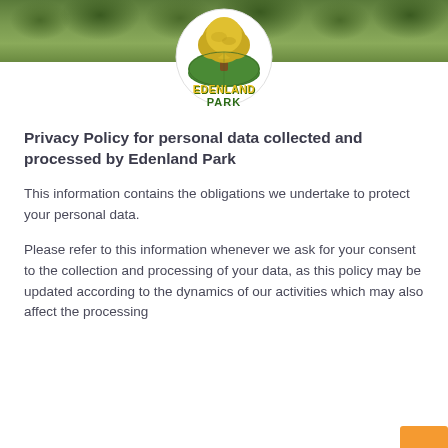[Figure (logo): Edenland Park logo: circular emblem with a yellow tree on a green globe/earth, with text 'EDENLAND PARK' in yellow and green styled lettering, set against a green leafy background header banner]
Privacy Policy for personal data collected and processed by Edenland Park
This information contains the obligations we undertake to protect your personal data.
Please refer to this information whenever we ask for your consent to the collection and processing of your data, as this policy may be updated according to the dynamics of our activities which may also affect the processing